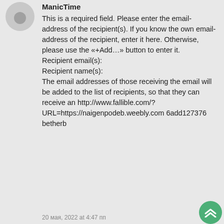[Figure (illustration): User avatar circle with head silhouette in gray]
ManicTime
This is a required field. Please enter the email-address of the recipient(s). If you know the own email-address of the recipient, enter it here. Otherwise, please use the «+Add…» button to enter it.
Recipient email(s):
Recipient name(s):
The email addresses of those receiving the email will be added to the list of recipients, so that they can receive an http://www.fallible.com/?URL=https://naigenpodeb.weebly.com 6add127376 betherb
20 мая, 2022 at 4:47 пп
ОТВЕТ